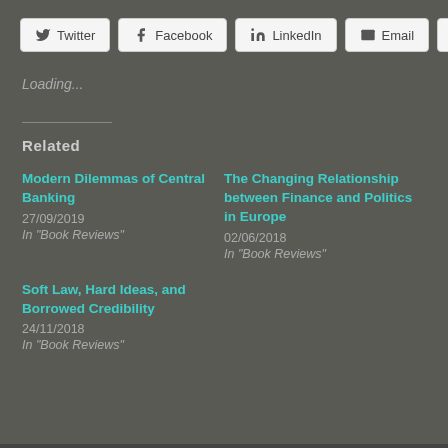[Figure (other): Social share buttons: Twitter, Facebook, LinkedIn, Email, Print]
Loading...
Related
Modern Dilemmas of Central Banking
27/09/2019
In "Book Reviews"
The Changing Relationship between Finance and Politics in Europe
02/06/2018
In "Book Reviews"
Soft Law, Hard Ideas, and Borrowed Credibility
24/11/2018
In "Book Reviews"